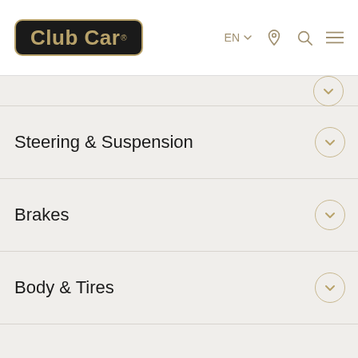Club Car - EN - navigation header
Steering & Suspension
Brakes
Body & Tires